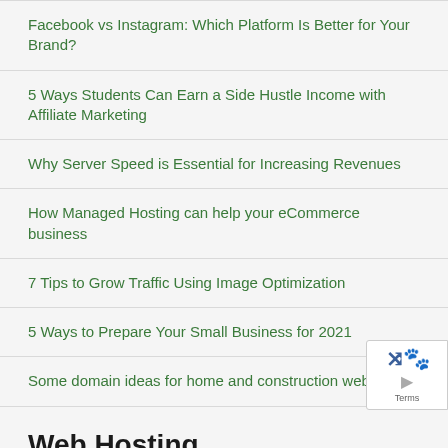Facebook vs Instagram: Which Platform Is Better for Your Brand?
5 Ways Students Can Earn a Side Hustle Income with Affiliate Marketing
Why Server Speed is Essential for Increasing Revenues
How Managed Hosting can help your eCommerce business
7 Tips to Grow Traffic Using Image Optimization
5 Ways to Prepare Your Small Business for 2021
Some domain ideas for home and construction websites
Web Hosting
10 Tips for Securing Your Email Server